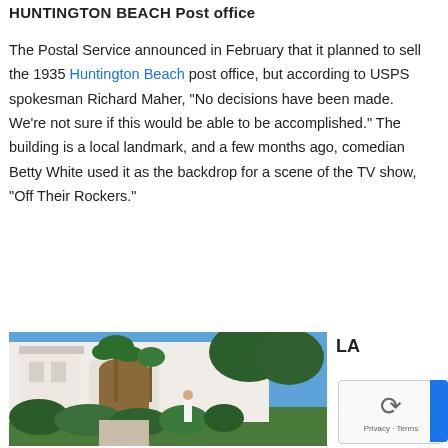HUNTINGTON BEACH Post office
The Postal Service announced in February that it planned to sell the 1935 Huntington Beach post office, but according to USPS spokesman Richard Maher, “No decisions have been made.  We’re not sure if this would be able to be accomplished.”  The building is a local landmark, and a few months ago, comedian Betty White used it as the backdrop for a scene of the TV show, “Off Their Rockers.”
[Figure (photo): Exterior photo of the 1935 Huntington Beach post office building, a white Spanish Colonial Revival style structure with arched entrance, palm trees, and green shrubbery in the foreground under a blue sky.]
LA